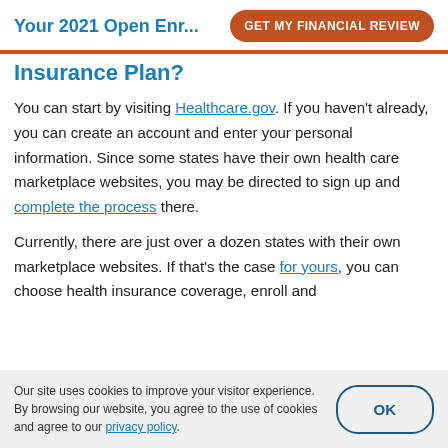Your 2021 Open Enr...   GET MY FINANCIAL REVIEW
Insurance Plan?
You can start by visiting Healthcare.gov. If you haven't already, you can create an account and enter your personal information. Since some states have their own health care marketplace websites, you may be directed to sign up and complete the process there.
Currently, there are just over a dozen states with their own marketplace websites. If that's the case for yours, you can choose health insurance coverage, enroll and
Our site uses cookies to improve your visitor experience. By browsing our website, you agree to the use of cookies and agree to our privacy policy.